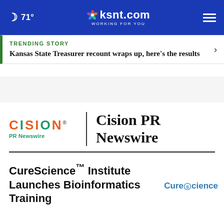71° ksnt.com WORKING FOR YOU
TRENDING STORY
Kansas State Treasurer recount wraps up, here's the results
[Figure (logo): Cision PR Newswire logo with orange CISION text, green PR Newswire label, vertical divider, and bold Cision PR Newswire text]
CureScience™ Institute Launches Bioinformatics Training
[Figure (logo): CureScience logo in blue text]